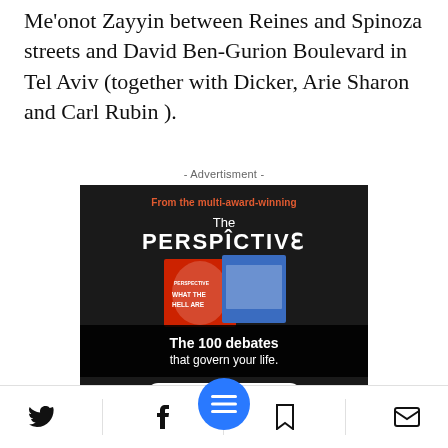Me'onot Zayyin between Reines and Spinoza streets and David Ben-Gurion Boulevard in Tel Aviv (together with Dicker, Arie Sharon and Carl Rubin ).
- Advertisment -
[Figure (illustration): Advertisement for 'The Perspective' book - 'The 100 debates that govern your life.' Available on Amazon.]
Social share icons: Twitter, Facebook, menu button, bookmark, email